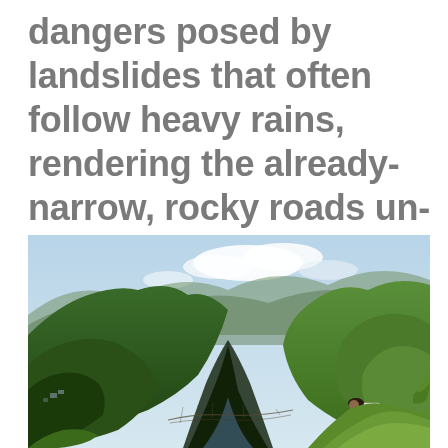dangers posed by landslides that often follow heavy rains, rendering the already-narrow, rocky roads un-motorable for weeks at a time. “It’s a risky ride.”
[Figure (photo): A lush green mountain valley with steep hillsides, a river or gorge below, blue sky with clouds, and a person in the foreground carrying a white box/container on their back while walking along a hillside path.]